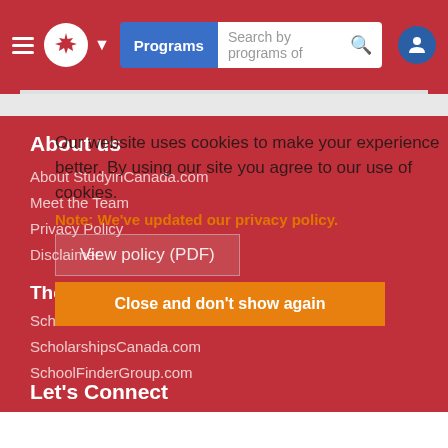[Figure (screenshot): StudyinCanada.com website header with hamburger menu, maple leaf logo, Programs button, search bar, and user icon]
About us
About StudyinCanada.com
Meet the Team
Privacy Policy
Disclaimer
Our website uses cookies to make your experience better. By using our site you agree to our use of cookies.
Note: We've updated our privacy policy.
The SchoolFinder Group
View policy (PDF)
SchoolFinder.com
ScholarshipsCanada.com
Close and don't show again
SchoolFinderGroup.com
Let's Connect